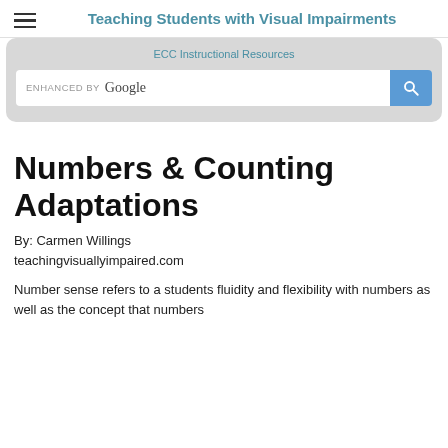Teaching Students with Visual Impairments
ECC Instructional Resources
[Figure (screenshot): Google search bar with 'ENHANCED BY Google' text and a blue search button with magnifying glass icon, inside a light grey rounded rectangle container]
Numbers & Counting Adaptations
By: Carmen Willings
teachingvisuallyimpaired.com
Number sense refers to a students fluidity and flexibility with numbers as well as the concept that numbers